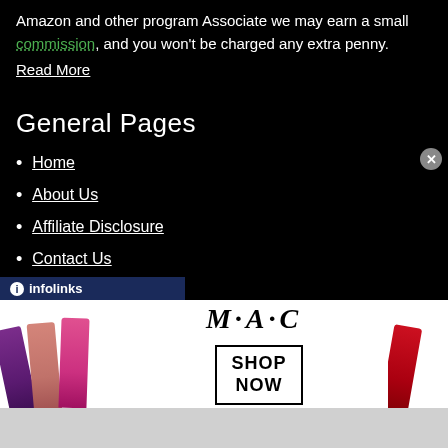Amazon and other program Associate we may earn a small commission, and you won't be charged any extra penny.
Read More
General Pages
Home
About Us
Affiliate Disclosure
Contact Us
Privacy Policy
[Figure (infographic): infolinks ad bar at bottom left]
[Figure (photo): MAC cosmetics advertisement banner with lipsticks, MAC logo, and SHOP NOW box]